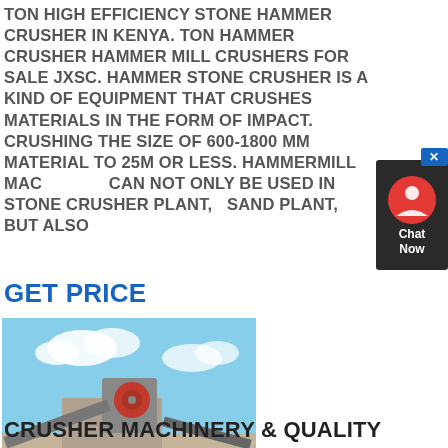TON HIGH EFFICIENCY STONE HAMMER CRUSHER IN KENYA. TON HAMMER CRUSHER HAMMER MILL CRUSHERS FOR SALE JXSC. HAMMER STONE CRUSHER IS A KIND OF EQUIPMENT THAT CRUSHES MATERIALS IN THE FORM OF IMPACT. CRUSHING THE SIZE OF 600-1800 MM MATERIAL TO 25M OR LESS. HAMMERMILL MACHINE CAN NOT ONLY BE USED IN STONE CRUSHER PLANT, SAND PLANT, BUT ALSO
[Figure (other): Chat Now widget with red circle icon and dark background, with close button]
GET PRICE
[Figure (photo): Photograph of a stone crusher plant facility with industrial machinery, conveyor belts, and blue sky with clouds in background]
CRUSHER MACHINERY & QUALITY